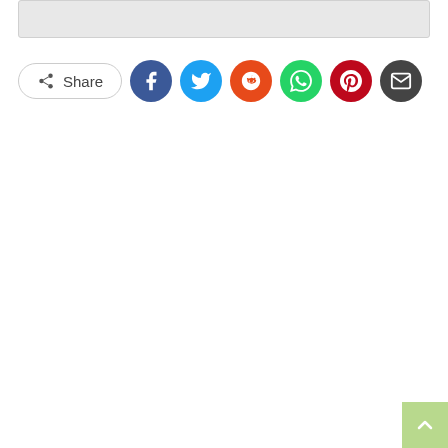[Figure (screenshot): Gray placeholder box at top of page]
[Figure (infographic): Social share button row with Share label and icons for Facebook, Twitter, Reddit, WhatsApp, Pinterest, Email]
[Figure (other): Back to top button (green square with up arrow) in bottom-right corner]